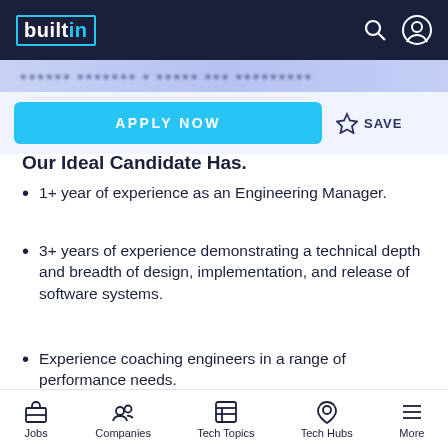builtin
Our Ideal Candidate Has.
1+ year of experience as an Engineering Manager.
3+ years of experience demonstrating a technical depth and breadth of design, implementation, and release of software systems.
Experience coaching engineers in a range of performance needs.
Experience supporting inclusive and effective teams.
Jobs  Companies  Tech Topics  Tech Hubs  More